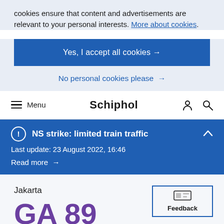cookies ensure that content and advertisements are relevant to your personal interests. More about cookies.
Yes, I accept all cookies →
No personal cookies please →
Menu  Schiphol
NS strike: limited train traffic
Last update: 23 August 2022, 16:46
Read more →
Jakarta
GA 89